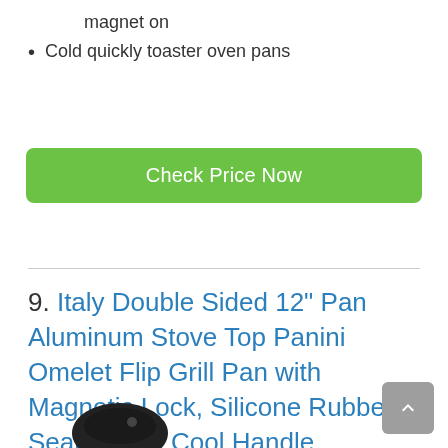magnet on
Cold quickly toaster oven pans
Check Price Now
9. Italy Double Sided 12" Pan Aluminum Stove Top Panini Omelet Flip Grill Pan with Magnetic Lock, Silicone Rubber Seal & Stay Cool Handle
[Figure (photo): Partial view of a black pan handle at the bottom of the page]